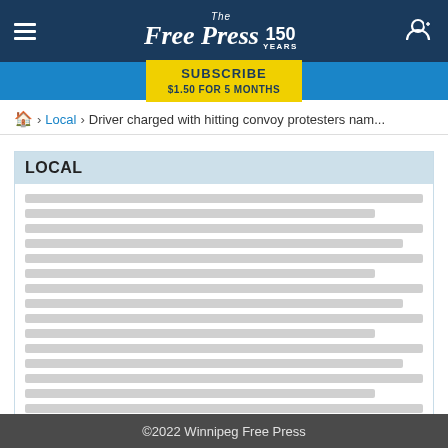The Free Press 150 YEARS
SUBSCRIBE $1.50 FOR 5 MONTHS
Home > Local > Driver charged with hitting convoy protesters nam...
LOCAL
[Article list content — obscured/loading placeholder lines]
LOAD MORE LOCAL
©2022 Winnipeg Free Press